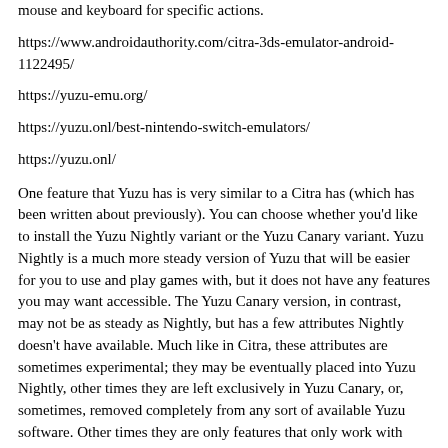mouse and keyboard for specific actions.
https://www.androidauthority.com/citra-3ds-emulator-android-1122495/
https://yuzu-emu.org/
https://yuzu.onl/best-nintendo-switch-emulators/
https://yuzu.onl/
One feature that Yuzu has is very similar to a Citra has (which has been written about previously). You can choose whether you'd like to install the Yuzu Nightly variant or the Yuzu Canary variant. Yuzu Nightly is a much more steady version of Yuzu that will be easier for you to use and play games with, but it does not have any features you may want accessible. The Yuzu Canary version, in contrast, may not be as steady as Nightly, but has a few attributes Nightly doesn't have available. Much like in Citra, these attributes are sometimes experimental; they may be eventually placed into Yuzu Nightly, other times they are left exclusively in Yuzu Canary, or, sometimes, removed completely from any sort of available Yuzu software. Other times they are only features that only work with lower performance (Or brings the game's performance down), which explains the reason they are exclusive to the less steady